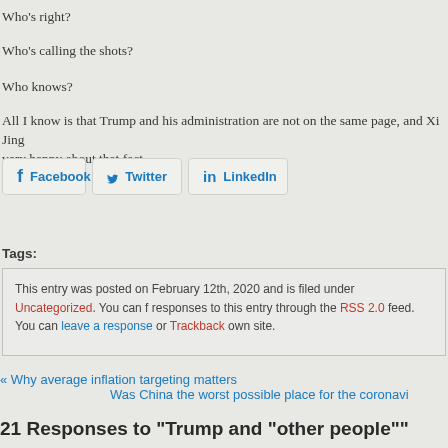Who's right?
Who's calling the shots?
Who knows?
All I know is that Trump and his administration are not on the same page, and Xi Jingping is very happy about that fact.
[Figure (other): Social share buttons: Facebook, Twitter, LinkedIn]
Tags:
This entry was posted on February 12th, 2020 and is filed under Uncategorized. You can follow responses to this entry through the RSS 2.0 feed. You can leave a response or Trackback from your own site.
« Why average inflation targeting matters
Was China the worst possible place for the coronavirus »
21 Responses to "Trump and "other people""